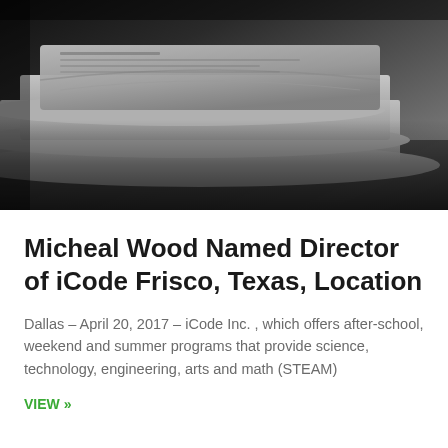[Figure (photo): Stack of folded newspapers on a dark surface, photographed in low key with dark shadows and gray tones]
Micheal Wood Named Director of iCode Frisco, Texas, Location
Dallas – April 20, 2017 – iCode Inc. , which offers after-school, weekend and summer programs that provide science, technology, engineering, arts and math (STEAM)
VIEW »